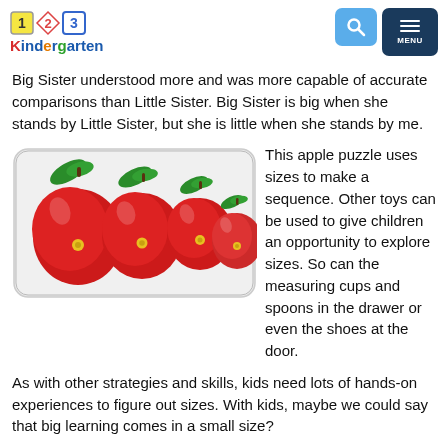123 Kindergarten
Big Sister understood more and was more capable of accurate comparisons than Little Sister. Big Sister is big when she stands by Little Sister, but she is little when she stands by me.
[Figure (photo): Apple size puzzle showing four red apples decreasing in size from left to right, each with a yellow knob and green leaf on a wooden board]
This apple puzzle uses sizes to make a sequence. Other toys can be used to give children an opportunity to explore sizes. So can the measuring cups and spoons in the drawer or even the shoes at the door.
As with other strategies and skills, kids need lots of hands-on experiences to figure out sizes. With kids, maybe we could say that big learning comes in a small size?